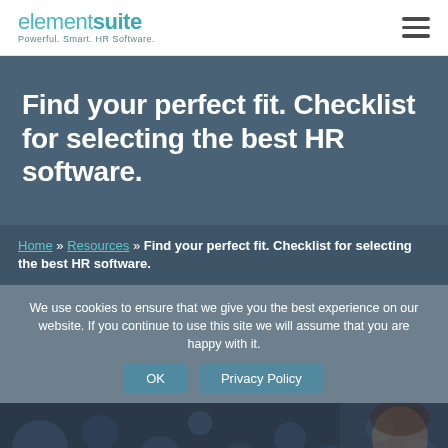elementsuite — Powerful. Smart. HR Software.
Find your perfect fit. Checklist for selecting the best HR software.
Home » Resources » Find your perfect fit. Checklist for selecting the best HR software.
We use cookies to ensure that we give you the best experience on our website. If you continue to use this site we will assume that you are happy with it.
[Figure (photo): Blurred background image with a woman visible on the right side, dark bokeh effect]